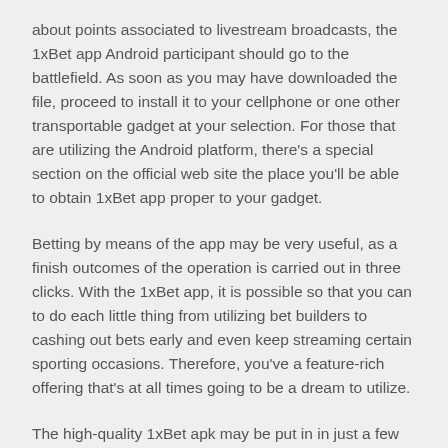about points associated to livestream broadcasts, the 1xBet app Android participant should go to the battlefield. As soon as you may have downloaded the file, proceed to install it to your cellphone or one other transportable gadget at your selection. For those that are utilizing the Android platform, there's a special section on the official web site the place you'll be able to obtain 1xBet app proper to your gadget.
Betting by means of the app may be very useful, as a finish outcomes of the operation is carried out in three clicks. With the 1xBet app, it is possible so that you can to do each little thing from utilizing bet builders to cashing out bets early and even keep streaming certain sporting occasions. Therefore, you've a feature-rich offering that's at all times going to be a dream to utilize.
The high-quality 1xBet apk may be put in in just a few seconds, after which you can register or log in, replenish your account and begin earning money. Visiting such resources, it's price checking the 1xBet apk, so as not to